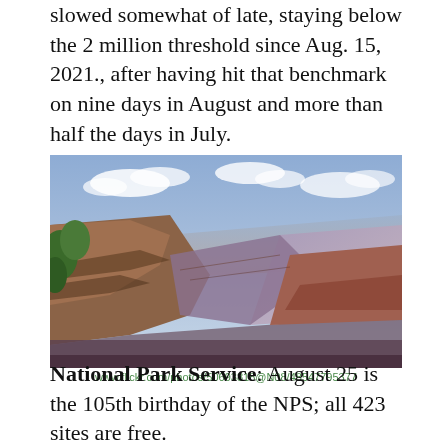slowed somewhat of late, staying below the 2 million threshold since Aug. 15, 2021., after having hit that benchmark on nine days in August and more than half the days in July.
[Figure (photo): Scenic photograph of the Grand Canyon showing layered red and orange rock formations with a blue sky and clouds, green tree on the left.]
www.flickr.com/photos/50693818@N08/48547795377
National Park Service: August 25 is the 105th birthday of the NPS; all 423 sites are free.